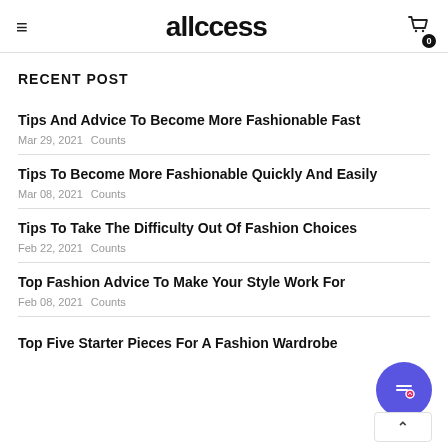allccess
RECENT POST
Tips And Advice To Become More Fashionable Fast
Mar 29, 2021  Counts
Tips To Become More Fashionable Quickly And Easily
Mar 08, 2021  Counts
Tips To Take The Difficulty Out Of Fashion Choices
Feb 22, 2021  Counts
Top Fashion Advice To Make Your Style Work For
Feb 08, 2021  Counts
Top Five Starter Pieces For A Fashion Wardrobe